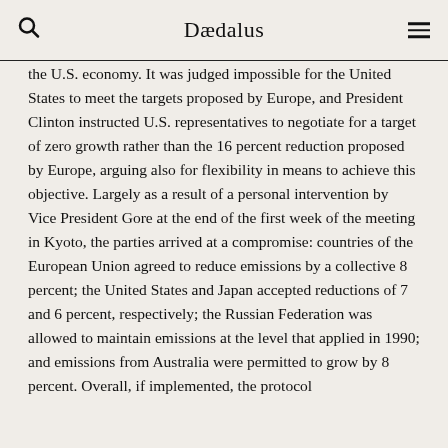Dædalus
the U.S. economy. It was judged impossible for the United States to meet the targets proposed by Europe, and President Clinton instructed U.S. representatives to negotiate for a target of zero growth rather than the 16 percent reduction proposed by Europe, arguing also for flexibility in means to achieve this objective. Largely as a result of a personal intervention by Vice President Gore at the end of the first week of the meeting in Kyoto, the parties arrived at a compromise: countries of the European Union agreed to reduce emissions by a collective 8 percent; the United States and Japan accepted reductions of 7 and 6 percent, respectively; the Russian Federation was allowed to maintain emissions at the level that applied in 1990; and emissions from Australia were permitted to grow by 8 percent. Overall, if implemented, the protocol